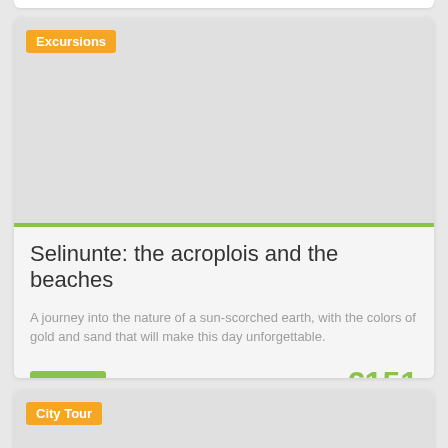[Figure (photo): Excursion card image placeholder - light gray background with Excursions badge]
Selinunte: the acroplois and the beaches
A journey into the nature of a sun-scorched earth, with the colors of gold and sand that will make this day unforgettable.
TRAPANI
€151
[Figure (photo): City Tour card image placeholder - light gray background with City Tour badge]